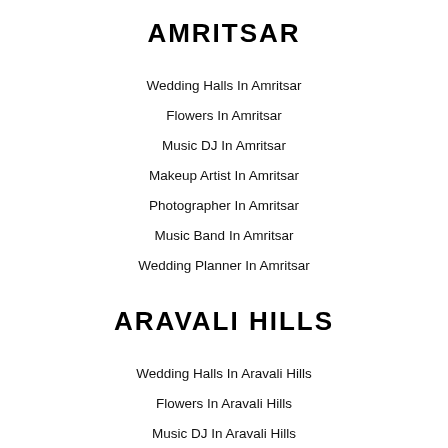AMRITSAR
Wedding Halls In Amritsar
Flowers In Amritsar
Music DJ In Amritsar
Makeup Artist In Amritsar
Photographer In Amritsar
Music Band In Amritsar
Wedding Planner In Amritsar
ARAVALI HILLS
Wedding Halls In Aravali Hills
Flowers In Aravali Hills
Music DJ In Aravali Hills